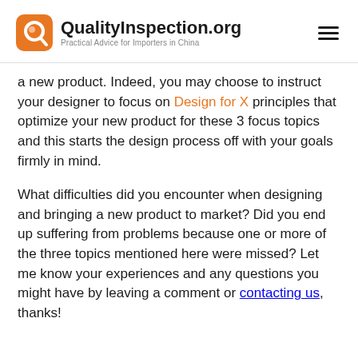QualityInspection.org — Practical Advice for Importers in China
a new product. Indeed, you may choose to instruct your designer to focus on Design for X principles that optimize your new product for these 3 focus topics and this starts the design process off with your goals firmly in mind.
What difficulties did you encounter when designing and bringing a new product to market? Did you end up suffering from problems because one or more of the three topics mentioned here were missed? Let me know your experiences and any questions you might have by leaving a comment or contacting us, thanks!